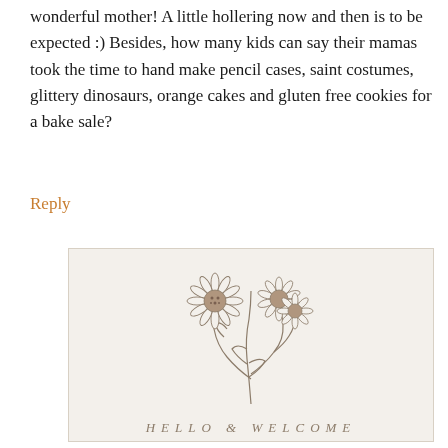wonderful mother! A little hollering now and then is to be expected :) Besides, how many kids can say their mamas took the time to hand make pencil cases, saint costumes, glittery dinosaurs, orange cakes and gluten free cookies for a bake sale?
Reply
[Figure (illustration): A beige/cream colored card with a botanical illustration of chamomile or daisy flowers in a brown/taupe sketched style, with the text HELLO & WELCOME in spaced serif capitals below the flowers.]